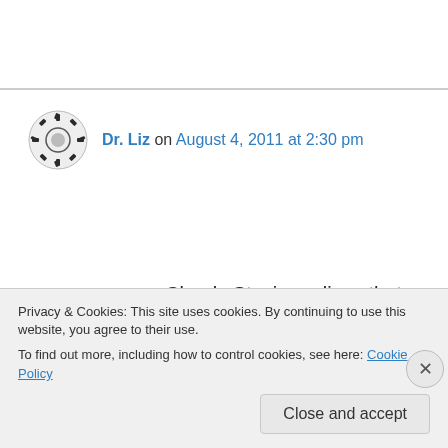Dr. Liz on August 4, 2011 at 2:30 pm
Clearly Stevie realizes that she doesn't NEED the look. Her inherent cuteness will get her all the goodies she needs without resorting to blatant pleading. Chick, on the other hand, is shameless. (As are both my girls….. However, when our miniature poodle was still alive, she had Stevie's approach – you're going to give it to
Privacy & Cookies: This site uses cookies. By continuing to use this website, you agree to their use.
To find out more, including how to control cookies, see here: Cookie Policy
Close and accept